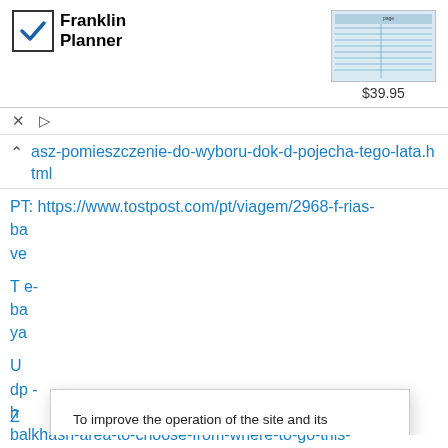[Figure (logo): Franklin Planner logo with checkbox icon and bold text]
[Figure (screenshot): Product thumbnail image showing a planner form]
$39.95
asz-pomieszczenie-do-wyboru-dok-d-pojecha-tego-lata.html
PT: https://www.tostpost.com/pt/viagem/2968-f-rias-ba-ve-
T e- ba ya
U dp -
h
To improve the operation of the site and its interaction with users, we use cookies. By continuing to use the site, you allow the use of cookies. You can always disable cookies in your browser settings.
Accept
Z balkhash-area-to-choose-from-where-to-go-this-